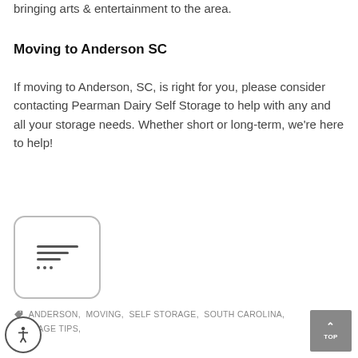bringing arts & entertainment to the area.
Moving to Anderson SC
If moving to Anderson, SC, is right for you, please consider contacting Pearman Dairy Self Storage to help with any and all your storage needs. Whether short or long-term, we're here to help!
[Figure (other): Content/document icon with three horizontal lines and three dots, inside a rounded rectangle border]
ANDERSON, MOVING, SELF STORAGE, SOUTH CAROLINA, STORAGE TIPS,